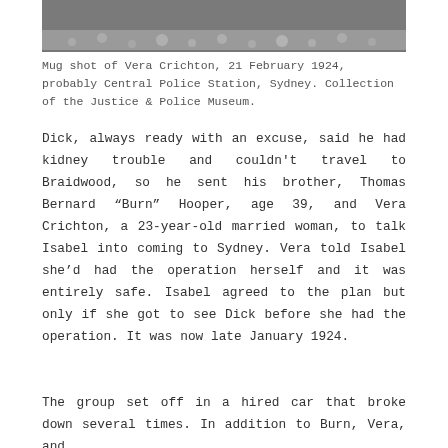[Figure (photo): Top portion of a mug shot photograph of Vera Crichton, showing the upper part of her face and a lace or crocheted hat/clothing detail.]
Mug shot of Vera Crichton, 21 February 1924, probably Central Police Station, Sydney. Collection of the Justice & Police Museum.
Dick, always ready with an excuse, said he had kidney trouble and couldn't travel to Braidwood, so he sent his brother, Thomas Bernard “Burn” Hooper, age 39, and Vera Crichton, a 23-year-old married woman, to talk Isabel into coming to Sydney. Vera told Isabel she’d had the operation herself and it was entirely safe. Isabel agreed to the plan but only if she got to see Dick before she had the operation. It was now late January 1924.
The group set off in a hired car that broke down several times. In addition to Burn, Vera, and